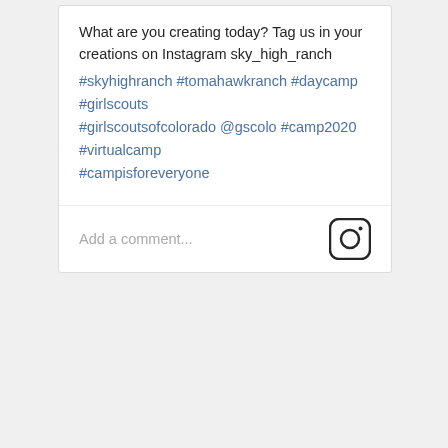What are you creating today? Tag us in your creations on Instagram sky_high_ranch #skyhighranch #tomahawkranch #daycamp #girlscouts #girlscoutsofcolorado @gscolo #camp2020 #virtualcamp #campisforeveryone
Add a comment...